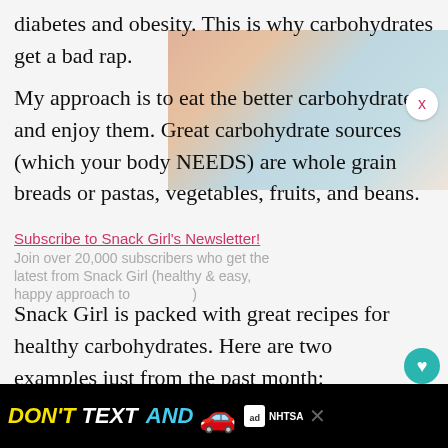diabetes and obesity. This is why carbohydrates get a bad rap.
[Figure (photo): Background food photo showing colorful dishes with vegetables and grains, faded/semi-transparent]
My approach is to eat the better carbohydrates and enjoy them. Great carbohydrate sources (which your body NEEDS) are whole grain breads or pastas, vegetables, fruits, and beans.
Subscribe to Snack Girl's Newsletter!
Join over 20,000 subscribers who get the latest from Snack Girl (healthy & easy, happy approach to the rest)
Snack Girl is packed with great recipes for healthy carbohydrates. Here are two examples just from the past month:
1. A No Bake Cookie That Salutes Fall
[Figure (infographic): DON'T TEXT AND DRIVE advertisement banner from NHTSA featuring yellow and white bold text on black background with red car emoji]